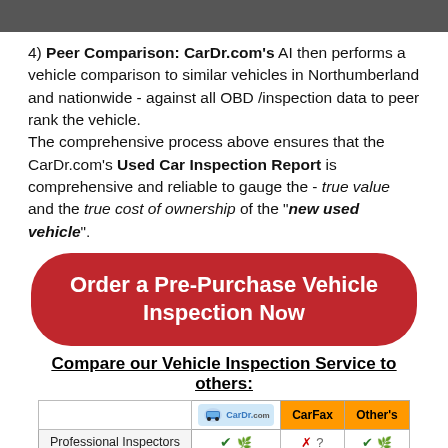[Figure (photo): Top strip showing partial photo of a person or car scene, cropped]
4) Peer Comparison: CarDr.com's AI then performs a vehicle comparison to similar vehicles in Northumberland and nationwide - against all OBD /inspection data to peer rank the vehicle.
The comprehensive process above ensures that the CarDr.com's Used Car Inspection Report is comprehensive and reliable to gauge the - true value and the true cost of ownership of the “new used vehicle”.
[Figure (other): Red rounded rectangle button with white bold text: Order a Pre-Purchase Vehicle Inspection Now]
Compare our Vehicle Inspection Service to others:
|  | CarDr.com | CarFax | Other's |
| --- | --- | --- | --- |
| Professional Inspectors | ✔ 🌱 | ✗ ? | ✔ 🌱 |